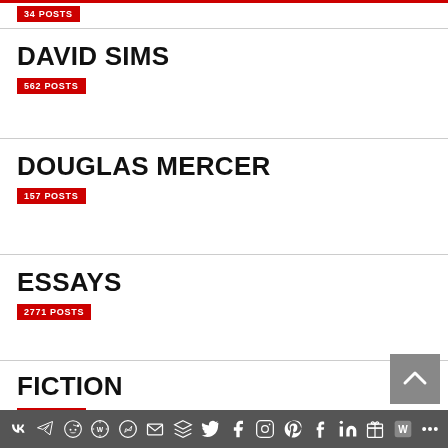34 POSTS
DAVID SIMS
562 POSTS
DOUGLAS MERCER
157 POSTS
ESSAYS
2771 POSTS
FICTION
128 POSTS
Social media sharing bar with icons: VK, Telegram, Reddit, WordPress, WhatsApp, Email, Buffer, Twitter, Facebook, Instagram, Pinterest, Tumblr, LinkedIn, Gift, Wattpad, Share